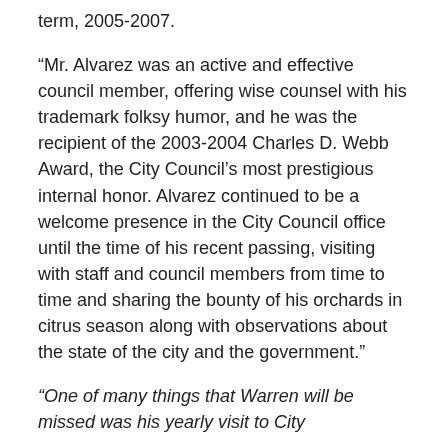term, 2005-2007.
“Mr. Alvarez was an active and effective council member, offering wise counsel with his trademark folksy humor, and he was the recipient of the 2003-2004 Charles D. Webb Award, the City Council’s most prestigious internal honor. Alvarez continued to be a welcome presence in the City Council office until the time of his recent passing, visiting with staff and council members from time to time and sharing the bounty of his orchards in citrus season along with observations about the state of the city and the government.”
“One of many things that Warren will be missed was his yearly visit to City